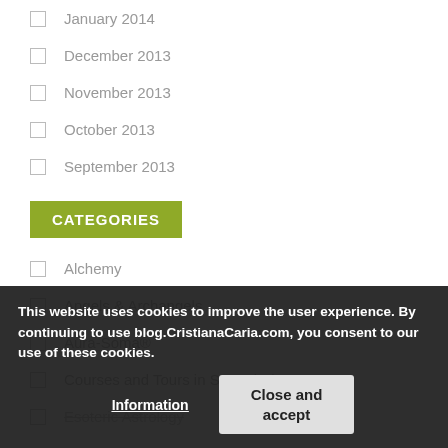January 2014
December 2013
November 2013
October 2013
September 2013
CATEGORIES
Alchemy
Angels & Archangels
Aura-Soma®
Courses and Tours in Sacred Places
Esoteric Astrology
Esoteric Tarot
International Initiation School
Kabbalah
This website uses cookies to improve the user experience. By continuing to use blog.CristianaCaria.com, you consent to our use of these cookies.
Information | Close and accept